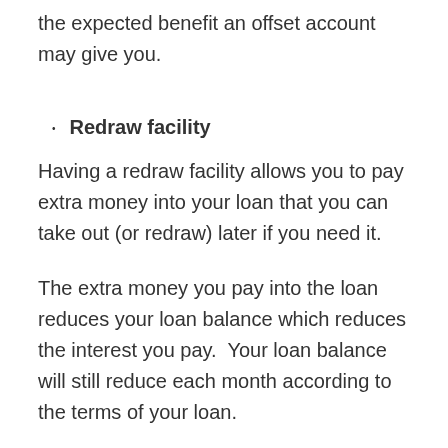the expected benefit an offset account may give you.
Redraw facility
Having a redraw facility allows you to pay extra money into your loan that you can take out (or redraw) later if you need it.
The extra money you pay into the loan reduces your loan balance which reduces the interest you pay.  Your loan balance will still reduce each month according to the terms of your loan.